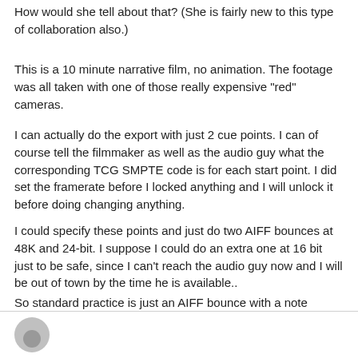How would she tell about that? (She is fairly new to this type of collaboration also.)
This is a 10 minute narrative film, no animation. The footage was all taken with one of those really expensive "red" cameras.
I can actually do the export with just 2 cue points. I can of course tell the filmmaker as well as the audio guy what the corresponding TCG SMPTE code is for each start point. I did set the framerate before I locked anything and I will unlock it before doing changing anything.
I could specify these points and just do two AIFF bounces at 48K and 24-bit. I suppose I could do an extra one at 16 bit just to be safe, since I can't reach the audio guy now and I will be out of town by the time he is available..
So standard practice is just an AIFF bounce with a note showing SMPTE starting point?
[Figure (illustration): User avatar circle silhouette at bottom left of page]